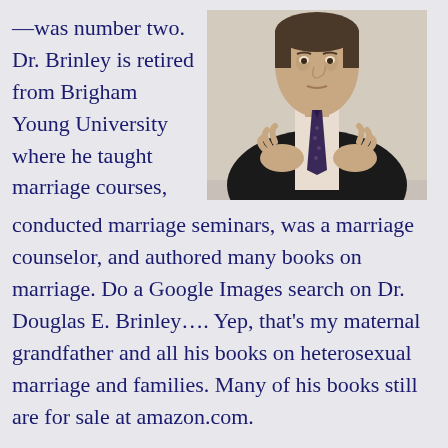—was number two. Dr. Brinley is retired from Brigham Young University where he taught marriage courses,
[Figure (photo): Photo of an older man in a dark suit and patterned tie, gesturing with both hands, photographed from mid-chest up against a light background.]
conducted marriage seminars, was a marriage counselor, and authored many books on marriage. Do a Google Images search on Dr. Douglas E. Brinley…. Yep, that's my maternal grandfather and all his books on heterosexual marriage and families. Many of his books still are for sale at amazon.com.
While I was visiting with Dr. Brinley, he told me that Dawna was pregnant with my oldest brother when she & dad got married on January 27, 1951,